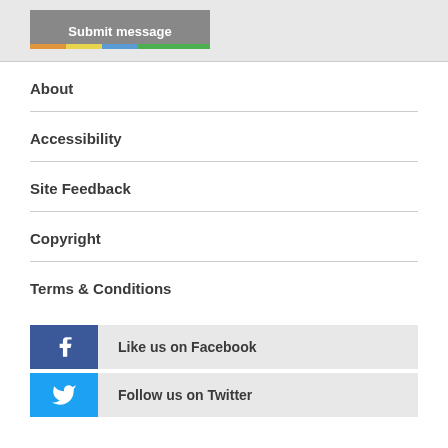[Figure (screenshot): Submit message button with colored stripe at bottom]
About
Accessibility
Site Feedback
Copyright
Terms & Conditions
Like us on Facebook
Follow us on Twitter